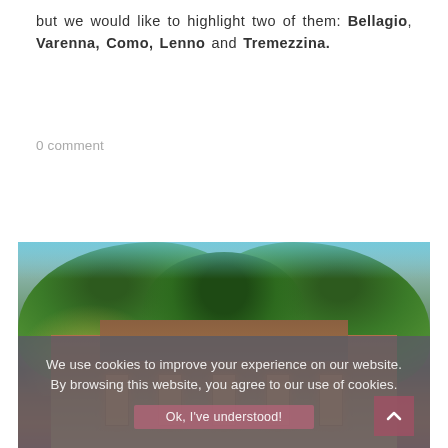but we would like to highlight two of them: Bellagio, Varenna, Como, Lenno and Tremezzina.
0 comment
[Figure (photo): Exterior photo of an illuminated building at dusk, framed by large trees with fairy lights. The building facade is lit with warm orange/amber light. Cookie consent overlay partially covers the lower portion of the image.]
We use cookies to improve your experience on our website. By browsing this website, you agree to our use of cookies.
Ok, I've understood!